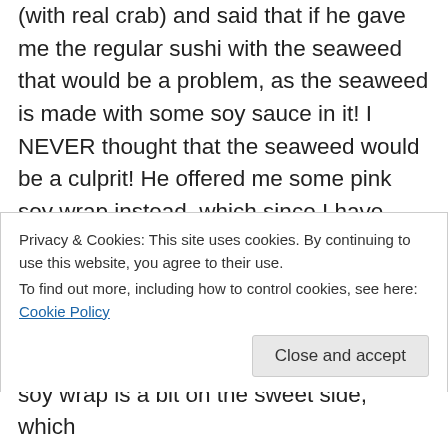(with real crab) and said that if he gave me the regular sushi with the seaweed that would be a problem, as the seaweed is made with some soy sauce in it! I NEVER thought that the seaweed would be a culprit! He offered me some pink soy wrap instead, which since I have been craving sushi for months and gluten does not send me to a hospital I sat there silently contemplating the risk of my craving not being satisfied, he said he would give me one of each then. So I tried that. Afterwards I was wishing I'd have just not had
Privacy & Cookies: This site uses cookies. By continuing to use this website, you agree to their use.
To find out more, including how to control cookies, see here: Cookie Policy
Close and accept
soy wrap is a bit on the sweet side, which